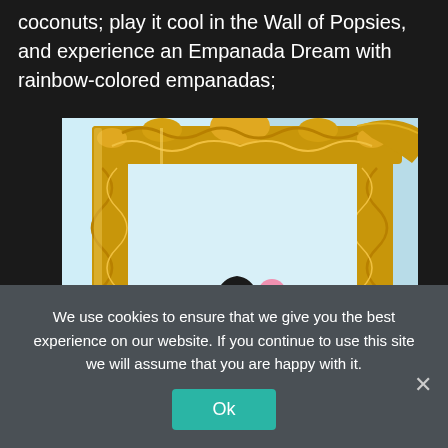coconuts; play it cool in the Wall of Popsies, and experience an Empanada Dream with rainbow-colored empanadas;
[Figure (photo): A large ornate gold picture frame in a white room, with a woman with long black hair wearing a pink outfit visible in the lower portion of the frame reflection or background.]
We use cookies to ensure that we give you the best experience on our website. If you continue to use this site we will assume that you are happy with it.